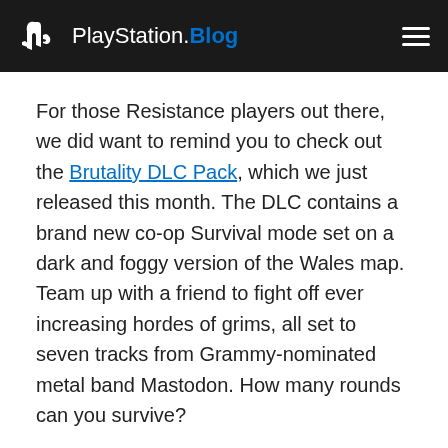PlayStation.Blog
For those Resistance players out there, we did want to remind you to check out the Brutality DLC Pack, which we just released this month. The DLC contains a brand new co-op Survival mode set on a dark and foggy version of the Wales map. Team up with a friend to fight off ever increasing hordes of grims, all set to seven tracks from Grammy-nominated metal band Mastodon. How many rounds can you survive?
We hope you have a great holiday season, filled with family, friends and gaming. We’re so thankful for all of our fans out there and for your support of our games. To